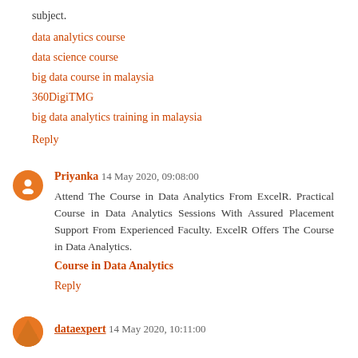subject.
data analytics course
data science course
big data course in malaysia
360DigiTMG
big data analytics training in malaysia
Reply
Priyanka 14 May 2020, 09:08:00
Attend The Course in Data Analytics From ExcelR. Practical Course in Data Analytics Sessions With Assured Placement Support From Experienced Faculty. ExcelR Offers The Course in Data Analytics.
Course in Data Analytics
Reply
dataexpert 14 May 2020, 10:11:00